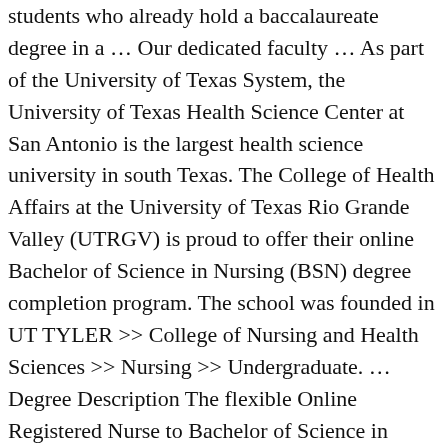students who already hold a baccalaureate degree in a … Our dedicated faculty … As part of the University of Texas System, the University of Texas Health Science Center at San Antonio is the largest health science university in south Texas. The College of Health Affairs at the University of Texas Rio Grande Valley (UTRGV) is proud to offer their online Bachelor of Science in Nursing (BSN) degree completion program. The school was founded in UT TYLER >> College of Nursing and Health Sciences >> Nursing >> Undergraduate. … Degree Description The flexible Online Registered Nurse to Bachelor of Science in Nursing Degree Track is designed for you as a career-oriented registered nurse seeking a Bachelor of Science in Nursing (BSN) through the Joanne Dishman School of Nursing at Lamar University.To enroll for this track, you must be a